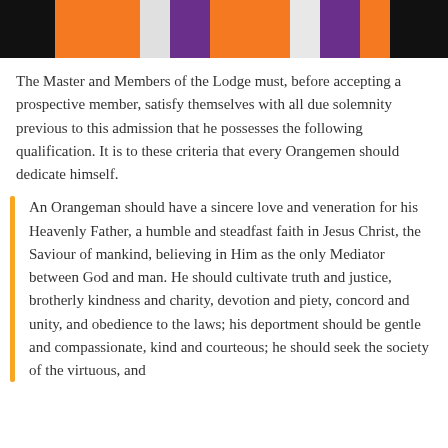[Figure (photo): Top portion of image showing orange, purple, and white regalia/sashes against a dark background]
The Master and Members of the Lodge must, before accepting a prospective member, satisfy themselves with all due solemnity previous to this admission that he possesses the following qualification. It is to these criteria that every Orangemen should dedicate himself.
An Orangeman should have a sincere love and veneration for his Heavenly Father, a humble and steadfast faith in Jesus Christ, the Saviour of mankind, believing in Him as the only Mediator between God and man. He should cultivate truth and justice, brotherly kindness and charity, devotion and piety, concord and unity, and obedience to the laws; his deportment should be gentle and compassionate, kind and courteous; he should seek the society of the virtuous, and